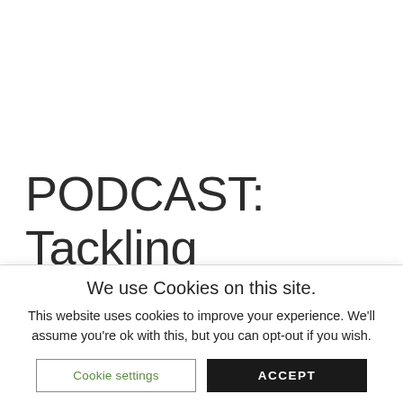PODCAST: Tackling
We use Cookies on this site.
This website uses cookies to improve your experience. We'll assume you're ok with this, but you can opt-out if you wish.
Cookie settings  ACCEPT